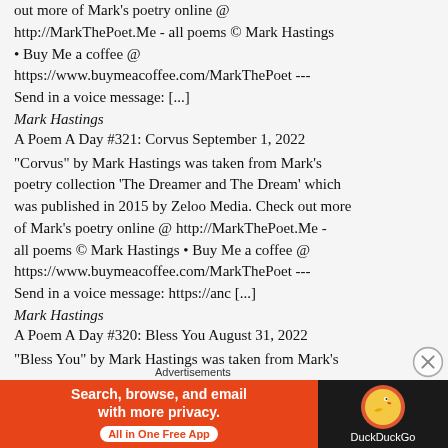out more of Mark's poetry online @ http://MarkThePoet.Me - all poems © Mark Hastings • Buy Me a coffee @ https://www.buymeacoffee.com/MarkThePoet --- Send in a voice message: [...]
Mark Hastings
A Poem A Day #321: Corvus September 1, 2022
"Corvus" by Mark Hastings was taken from Mark's poetry collection 'The Dreamer and The Dream' which was published in 2015 by Zeloo Media. Check out more of Mark's poetry online @ http://MarkThePoet.Me - all poems © Mark Hastings • Buy Me a coffee @ https://www.buymeacoffee.com/MarkThePoet --- Send in a voice message: https://anc [...]
Mark Hastings
A Poem A Day #320: Bless You August 31, 2022
"Bless You" by Mark Hastings was taken from Mark's
[Figure (infographic): DuckDuckGo advertisement banner: orange left panel with text 'Search, browse, and email with more privacy. All in One Free App' and dark right panel with DuckDuckGo logo and name.]